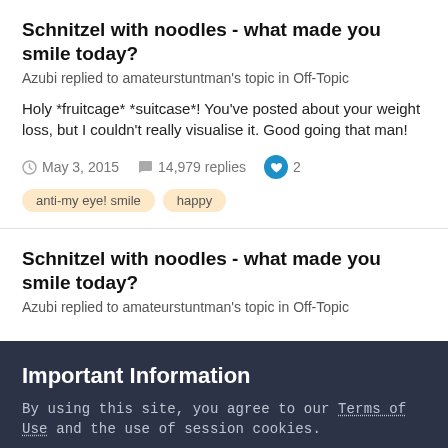Schnitzel with noodles - what made you smile today?
Azubi replied to amateurstuntman's topic in Off-Topic
Holy *fruitcage* *suitcase*! You've posted about your weight loss, but I couldn't really visualise it. Good going that man!
May 3, 2015   14,979 replies   2
anti-my eye! smile   happy
Schnitzel with noodles - what made you smile today?
Azubi replied to amateurstuntman's topic in Off-Topic
Important Information
By using this site, you agree to our Terms of Use and the use of session cookies.
✓ I accept